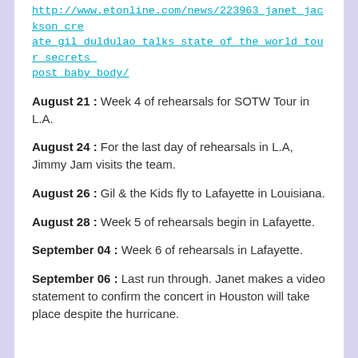http://www.etonline.com/news/223963_janet_jackson_create_gil_duldulao_talks_state_of_the_world_tour_secrets_post_baby_body/
August 21 : Week 4 of rehearsals for SOTW Tour in L.A.
August 24 : For the last day of rehearsals in L.A, Jimmy Jam visits the team.
August 26 : Gil & the Kids fly to Lafayette in Louisiana.
August 28 : Week 5 of rehearsals begin in Lafayette.
September 04 : Week 6 of rehearsals in Lafayette.
September 06 : Last run through. Janet makes a video statement to confirm the concert in Houston will take place despite the hurricane.